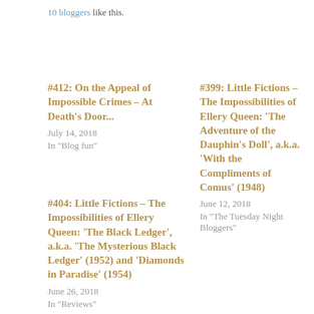10 bloggers like this.
#412: On the Appeal of Impossible Crimes – At Death's Door...
July 14, 2018
In "Blog fun"
#399: Little Fictions – The Impossibilities of Ellery Queen: 'The Adventure of the Dauphin's Doll', a.k.a. 'With the Compliments of Comus' (1948)
June 12, 2018
In "The Tuesday Night Bloggers"
#404: Little Fictions – The Impossibilities of Ellery Queen: 'The Black Ledger', a.k.a. 'The Mysterious Black Ledger' (1952) and 'Diamonds in Paradise' (1954)
June 26, 2018
In "Reviews"